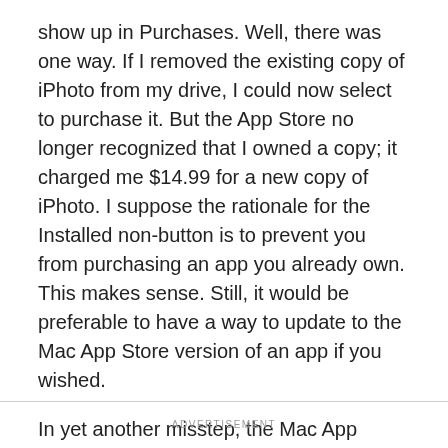show up in Purchases. Well, there was one way. If I removed the existing copy of iPhoto from my drive, I could now select to purchase it. But the App Store no longer recognized that I owned a copy; it charged me $14.99 for a new copy of iPhoto. I suppose the rationale for the Installed non-button is to prevent you from purchasing an app you already own. This makes sense. Still, it would be preferable to have a way to update to the Mac App Store version of an app if you wished.
In yet another misstep, the Mac App Store did not recognize that I had the iWork apps (Keynote, Pages and Numbers) installed on my drive. It simply listed them as available for purchase.
ADVERTISEMENT